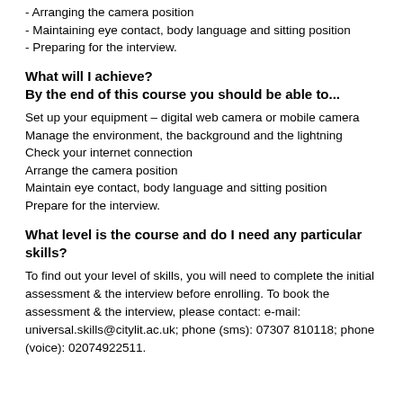- Arranging the camera position
- Maintaining eye contact, body language and sitting position
- Preparing for the interview.
What will I achieve?
By the end of this course you should be able to...
Set up your equipment – digital web camera or mobile camera
Manage the environment, the background and the lightning
Check your internet connection
Arrange the camera position
Maintain eye contact, body language and sitting position
Prepare for the interview.
What level is the course and do I need any particular skills?
To find out your level of skills, you will need to complete the initial assessment & the interview before enrolling. To book the assessment & the interview, please contact: e-mail: universal.skills@citylit.ac.uk; phone (sms): 07307 810118; phone (voice): 02074922511.